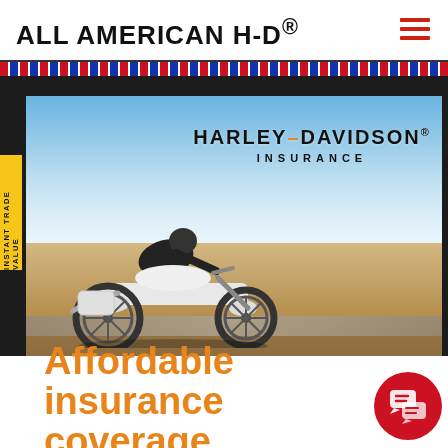ALL AMERICAN H-D®
[Figure (photo): Harley-Davidson Insurance promotional image showing a rider on a white Harley-Davidson motorcycle on an open road with sky background. Text overlay reads HARLEY-DAVIDSON INSURANCE.]
INSTANT TRADE VALUE
Affordable insurance coverage